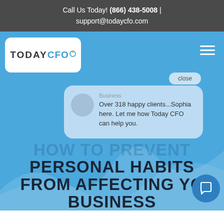Call Us Today! (866) 438-5008 | support@todaycfo.com
[Figure (logo): TODAY CFO logo with blue CFO text and orange dot accent, on white rounded rectangle background]
[Figure (screenshot): Chat popup showing avatar, 'Business' label, and message: Over 318 happy clients...Sophia here. Let me how Today CFO can help you. Close button visible top right.]
HOW TO PREVENT PERSONAL HABITS FROM AFFECTING YOUR BUSINESS